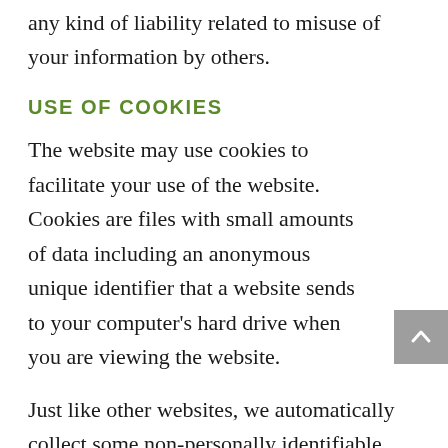any kind of liability related to misuse of your information by others.
USE OF COOKIES
The website may use cookies to facilitate your use of the website. Cookies are files with small amounts of data including an anonymous unique identifier that a website sends to your computer's hard drive when you are viewing the website.
Just like other websites, we automatically collect some non-personally identifiable information including but not limited to